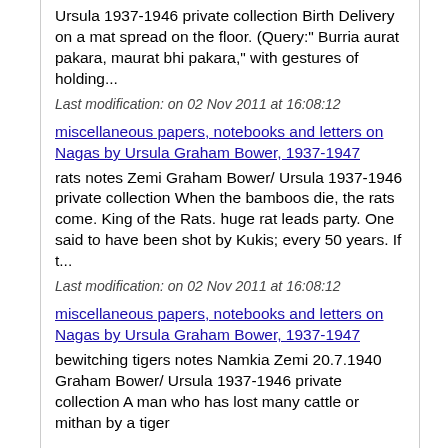Ursula 1937-1946 private collection Birth Delivery on a mat spread on the floor. (Query:" Burria aurat pakara, maurat bhi pakara," with gestures of holding...
Last modification: on 02 Nov 2011 at 16:08:12
miscellaneous papers, notebooks and letters on Nagas by Ursula Graham Bower, 1937-1947
rats notes Zemi Graham Bower/ Ursula 1937-1946 private collection When the bamboos die, the rats come. King of the Rats. huge rat leads party. One said to have been shot by Kukis; every 50 years. If t...
Last modification: on 02 Nov 2011 at 16:08:12
miscellaneous papers, notebooks and letters on Nagas by Ursula Graham Bower, 1937-1947
bewitching tigers notes Namkia Zemi 20.7.1940 Graham Bower/ Ursula 1937-1946 private collection A man who has lost many cattle or mithan by a tiger